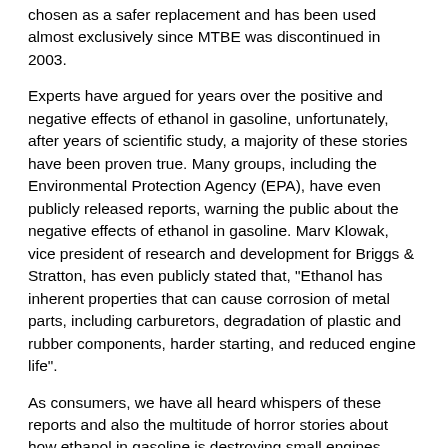chosen as a safer replacement and has been used almost exclusively since MTBE was discontinued in 2003.
Experts have argued for years over the positive and negative effects of ethanol in gasoline, unfortunately, after years of scientific study, a majority of these stories have been proven true. Many groups, including the Environmental Protection Agency (EPA), have even publicly released reports, warning the public about the negative effects of ethanol in gasoline. Marv Klowak, vice president of research and development for Briggs & Stratton, has even publicly stated that, "Ethanol has inherent properties that can cause corrosion of metal parts, including carburetors, degradation of plastic and rubber components, harder starting, and reduced engine life".
As consumers, we have all heard whispers of these reports and also the multitude of horror stories about how ethanol in gasoline is destroying small engines, including snowmobiles. Given the sizeable investment many of us make in the purchasing and upkeep of our snowmobiles, how can we continue to enjoy our sport without worrying about costly